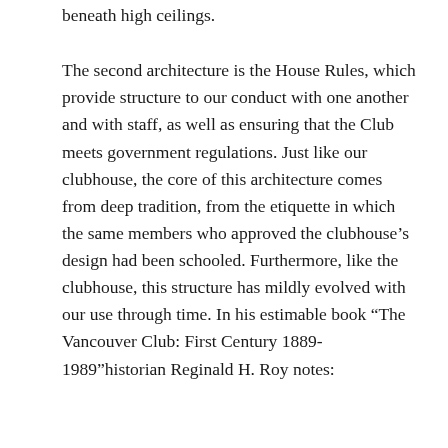beneath high ceilings.
The second architecture is the House Rules, which provide structure to our conduct with one another and with staff, as well as ensuring that the Club meets government regulations. Just like our clubhouse, the core of this architecture comes from deep tradition, from the etiquette in which the same members who approved the clubhouse’s design had been schooled. Furthermore, like the clubhouse, this structure has mildly evolved with our use through time. In his estimable book “The Vancouver Club: First Century 1889-1989”historian Reginald H. Roy notes: